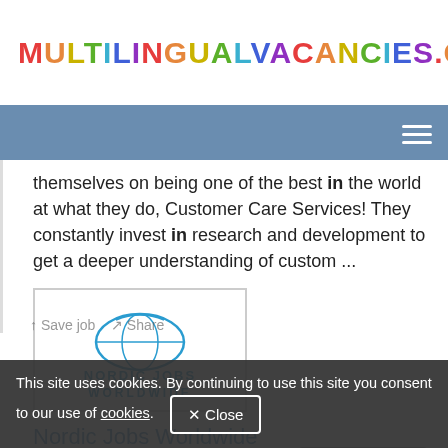MULTILINGUALVACANCIES.COM
themselves on being one of the best in the world at what they do, Customer Care Services! They constantly invest in research and development to get a deeper understanding of custom ...
[Figure (logo): Nordic Jobs Worldwide company logo with globe graphic and text]
Nordic Jobs Worldwide
29 days ago
View more
This site uses cookies. By continuing to use this site you consent to our use of cookies.
Close